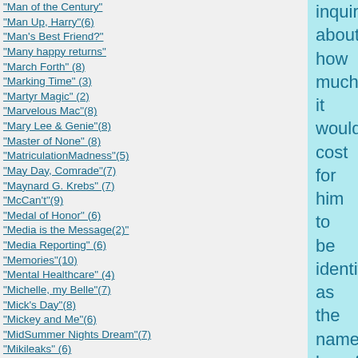"Man of the Century"
"Man Up, Harry"(6)
"Man's Best Friend?"
"Many happy returns"
"March Forth" (8)
"Marking Time" (3)
"Martyr Magic" (2)
"Marvelous Mac"(8)
"Mary Lee & Genie"(8)
"Master of None" (8)
"MatriculationMadness"(5)
"May Day, Comrade"(7)
"Maynard G. Krebs" (7)
"McCan't"(9)
"Medal of Honor" (6)
"Media is the Message(2)"
"Media Reporting" (6)
"Memories"(10)
"Mental Healthcare" (4)
"Michelle, my Belle"(7)
"Mick's Day"(8)
"Mickey and Me"(6)
"MidSummer Nights Dream"(7)
"Mikileaks" (6)
"Missionary Position" (3)
"Missionary Position" (7)
"Mississip' Sippin'"(2)
inquired about how much it would cost for him to be identified as the namesake benefactor of this facility. Attending the naming ceremonies were dignitaries from throughout the Southeast, including the Past-President of the College of the Shire.  Dr. Charles Sydnor asked each of the attendees, in his dedicatory remarks, to remember our old friend fondly, "and to flush one from the crapper."
Ronald Reagan, as George Gipp, would have laughed, as did Frodo.  Frodo laughed through a longing tear for an old friend as he reflected on